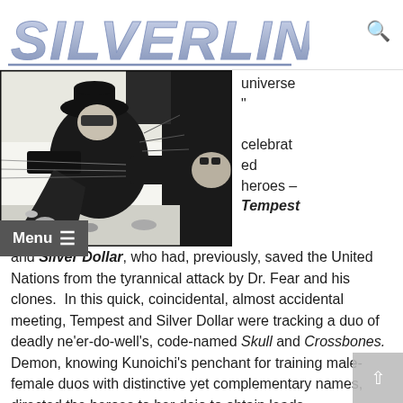SILVERLINE
[Figure (illustration): Black and white comic book illustration of a superhero character in dramatic action pose, wearing a hat and dark costume, reaching forward with fist extended]
universe " celebrated heroes – Tempest
and Silver Dollar, who had, previously, saved the United Nations from the tyrannical attack by Dr. Fear and his clones.  In this quick, coincidental, almost accidental meeting, Tempest and Silver Dollar were tracking a duo of deadly ne'er-do-well's, code-named Skull and Crossbones. Demon, knowing Kunoichi's penchant for training male-female duos with distinctive yet complementary names, directed the heroes to her dojo to obtain leads.
Many, many months later, while watching TV during the day, Demon received a phone call from his employee – Nancy who works as a nurse in his clinic.  She told him to quickly